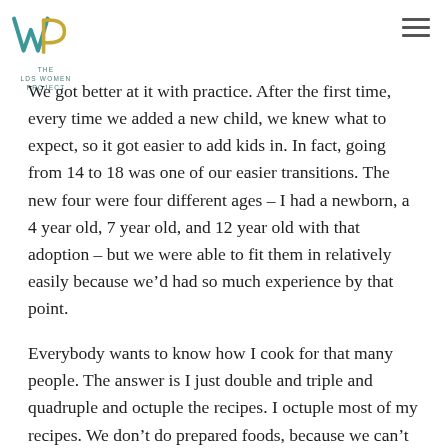THE LDS WOMEN PROJECT
We got better at it with practice. After the first time, every time we added a new child, we knew what to expect, so it got easier to add kids in. In fact, going from 14 to 18 was one of our easier transitions. The new four were four different ages – I had a newborn, a 4 year old, 7 year old, and 12 year old with that adoption – but we were able to fit them in relatively easily because we'd had so much experience by that point.
Everybody wants to know how I cook for that many people. The answer is I just double and triple and quadruple and octuple the recipes. I octuple most of my recipes. We don't do prepared foods, because we can't